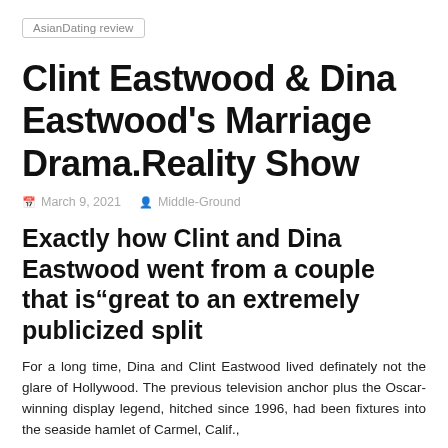AsianDating review
Clint Eastwood & Dina Eastwood's Marriage Drama.Reality Show
March 9, 2021   Middle-Ground
Exactly how Clint and Dina Eastwood went from a couple that is“great to an extremely publicized split
For a long time, Dina and Clint Eastwood lived definately not the glare of Hollywood. The previous television anchor plus the Oscar-winning display legend, hitched since 1996, had been fixtures into the seaside hamlet of Carmel, Calif.,